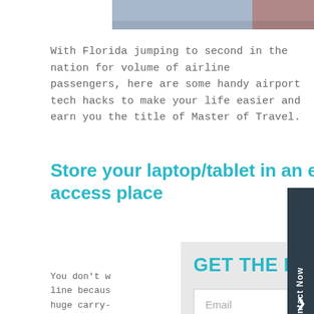[Figure (photo): Partial photo strip at top of page showing two people, one in light blue shirt and one in dark red/maroon, cropped to show shoulders/torso area only]
With Florida jumping to second in the nation for volume of airline passengers, here are some handy airport tech hacks to make your life easier and earn you the title of Master of Travel.
Store your laptop/tablet in an easy-to-access place
You don't w line becaus huge carry- lost, so the out with ea easily slip y through th behind you
[Figure (screenshot): Email subscription modal popup with teal 'GET THE LATEST UP' heading, an Email input field, and a dark blue SUBSCRIBE button]
[Figure (other): Contact Now vertical tab on the right side in dark navy color]